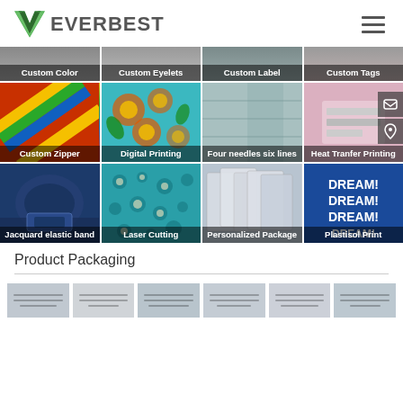[Figure (logo): Everbest company logo with green V checkmark and gray EVERBEST text]
[Figure (infographic): 3x3 grid of product images: Custom Color, Custom Eyelets, Custom Label, Custom Tags, Custom Zipper, Digital Printing, Four needles six lines, Heat Tranfer Printing, Jacquard elastic band, Laser Cutting, Personalized Package, Plastisol Print]
Product Packaging
[Figure (photo): Row of small product packaging thumbnail images]